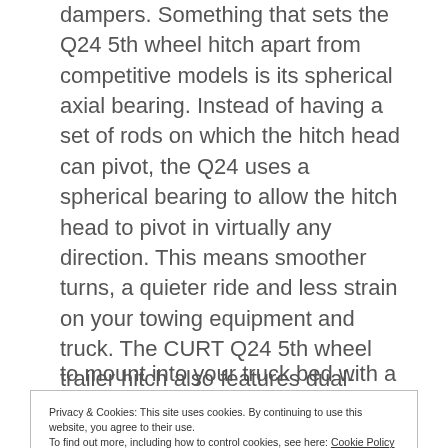dampers. Something that sets the Q24 5th wheel hitch apart from competitive models is its spherical axial bearing. Instead of having a set of rods on which the hitch head can pivot, the Q24 uses a spherical bearing to allow the hitch head to pivot in virtually any direction. This means smoother turns, a quieter ride and less strain on your towing equipment and truck. The CURT Q24 5th wheel trailer hitch also features dual-locking jaws, a self-aligning head, single-handle operation and a three-position coupling indicator. It comes with a durable
Privacy & Cookies: This site uses cookies. By continuing to use this website, you agree to their use.
To find out more, including how to control cookies, see here: Cookie Policy
to mount into your truck bed with a pair 5th wheel rails and brackets.